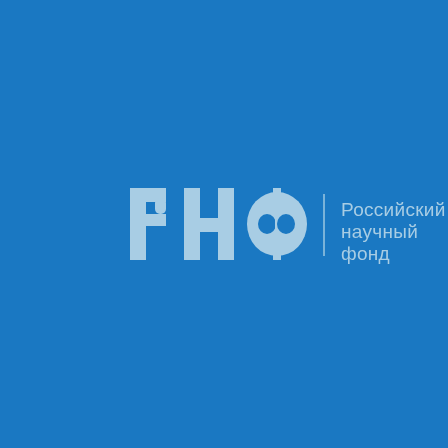[Figure (logo): Logo of the Russian Science Foundation (РНФ — Российский научный фонд). Left side shows stylized Cyrillic letters РНФ in light blue on blue background, where Ф is designed with a face/goggle motif. A vertical divider separates the monogram from the full name text 'Российский научный фонд' on the right.]